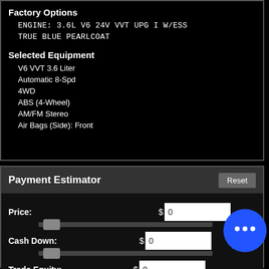Factory Options
ENGINE: 3.6L V6 24V VVT UPG I W/ESS
TRUE BLUE PEARLCOAT
Selected Equipment
V6 VVT 3.6 Liter
Automatic 8-Spd
4WD
ABS (4-Wheel)
AM/FM Stereo
Air Bags (Side): Front
Payment Estimator
Price: $0
Cash Down: $0
Trade Equity: $0